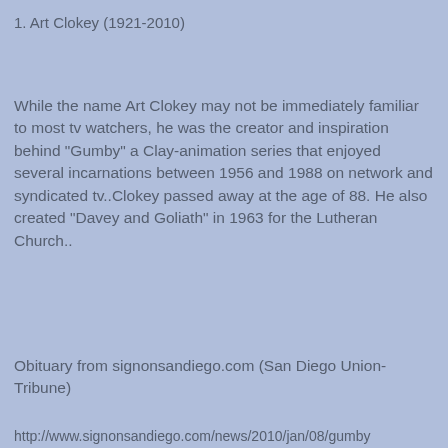1. Art Clokey (1921-2010)
While the name Art Clokey may not be immediately familiar to most tv watchers, he was the creator and inspiration behind "Gumby" a Clay-animation series that enjoyed several incarnations between 1956 and 1988 on network and syndicated tv..Clokey passed away at the age of 88. He also created "Davey and Goliath" in 1963 for the Lutheran Church..
Obituary from signonsandiego.com (San Diego Union-Tribune)
http://www.signonsandiego.com/news/2010/jan/08/gumby